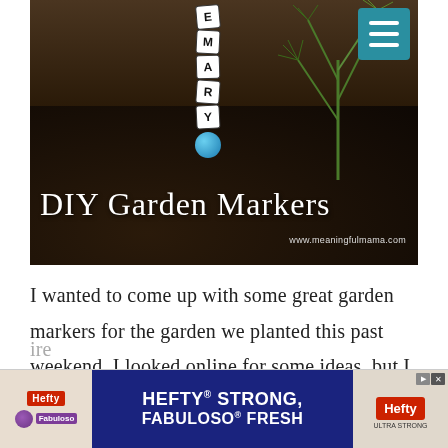[Figure (photo): A photo of a DIY garden marker made from letter beads spelling 'ROSEMARY' on a stick, with a blue polka-dot bead at the bottom, stuck in dark soil next to a rosemary plant. Text overlay reads 'DIY Garden Markers' and 'www.meaningfulmama.com'. A teal hamburger-menu button is in the top-right corner.]
I wanted to come up with some great garden markers for the garden we planted this past weekend. I looked online for some ideas, but I didn't find simple ideas around the house that inspire the gard... ire
[Figure (other): Advertisement banner: Hefty STRONG, FABULOSO FRESH with Hefty product image on the right side.]